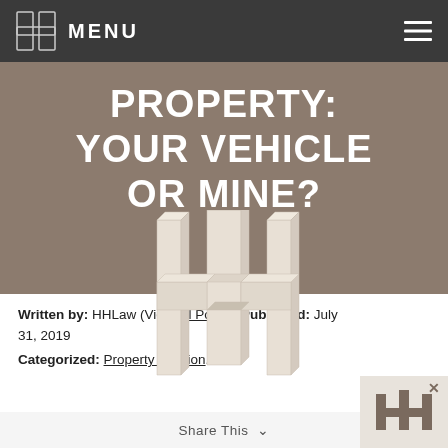MENU
PROPERTY: YOUR VEHICLE OR MINE?
[Figure (logo): HH Law 3D logo — two interlocking H-shaped columns in cream/beige color on a taupe background]
Written by: HHLaw (View All Posts ) Published: July 31, 2019
Categorized: Property Division.
Share This ∨